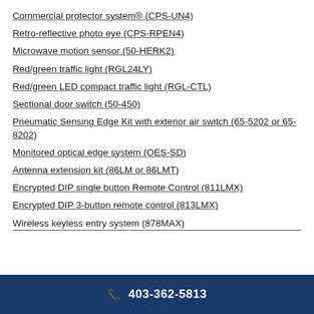Commercial protector system® (CPS-UN4)
Retro-reflective photo eye (CPS-RPEN4)
Microwave motion sensor (50-HERK2)
Red/green traffic light (RGL24LY)
Red/green LED compact traffic light (RGL-CTL)
Sectional door switch (50-450)
Pneumatic Sensing Edge Kit with exterior air switch (65-5202 or 65-8202)
Monitored optical edge system (OES-SD)
Antenna extension kit (86LM or 86LMT)
Encrypted DIP single button Remote Control (811LMX)
Encrypted DIP 3-button remote control (813LMX)
Wireless keyless entry system (878MAX)
403-362-5813